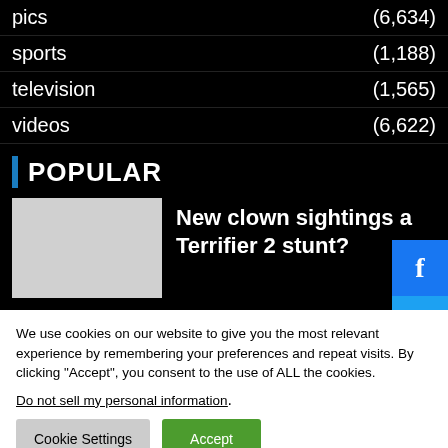pics (6,634)
sports (1,188)
television (1,565)
videos (6,622)
POPULAR
New clown sightings a Terrifier 2 stunt?
We use cookies on our website to give you the most relevant experience by remembering your preferences and repeat visits. By clicking “Accept”, you consent to the use of ALL the cookies.
Do not sell my personal information.